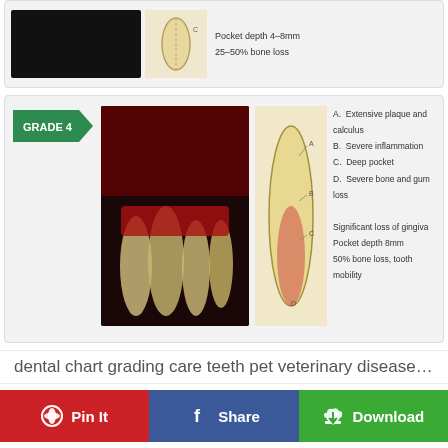[Figure (photo): Partial view of Grade 3 periodontal disease card showing a dark photo of dog teeth and a tooth cross-section diagram. Text reads: Pocket depth 4-8mm, 25-50% bone loss.]
[Figure (infographic): Grade 4 periodontal disease card with green arrow badge labeled GRADE 4, photo of severely diseased dog teeth, anatomical tooth diagram, and text: A. Extensive plaque and calculus, B. Severe inflammation, C. Deep pocket, D. Severe bone and gum loss, Significant loss of gingiva, Pocket depth 8mm, 50% bone loss, tooth mobility.]
dental chart grading care teeth pet veterinary disease d…
[Figure (other): Social sharing action bar with three buttons: Pin It (red/Pinterest), Share (blue/Facebook), Download (green with cloud icon).]
[Figure (photo): Bottom cropped image card showing a grey background with partial view of what appears to be a dog or pet photo.]